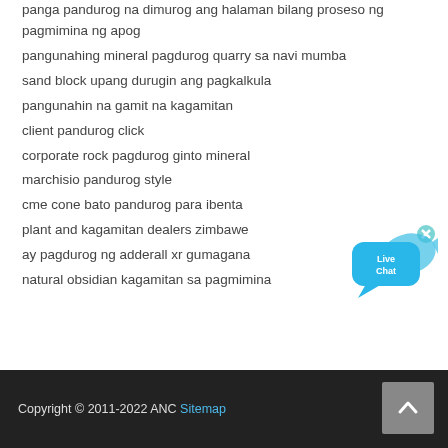panga pandurog na dimurog ang halaman bilang proseso ng pagmimina ng apog
pangunahing mineral pagdurog quarry sa navi mumba
sand block upang durugin ang pagkalkula
pangunahin na gamit na kagamitan
client pandurog click
corporate rock pagdurog ginto mineral
marchisio pandurog style
cme cone bato pandurog para ibenta
plant and kagamitan dealers zimbawe
ay pagdurog ng adderall xr gumagana
natural obsidian kagamitan sa pagmimina
[Figure (other): Live Chat button with blue speech bubble and fish icon]
Copyright © 2011-2022 ANC Sitemap